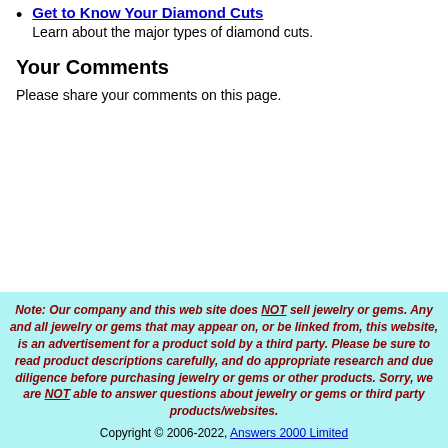Get to Know Your Diamond Cuts
Learn about the major types of diamond cuts.
Your Comments
Please share your comments on this page.
Note: Our company and this web site does NOT sell jewelry or gems. Any and all jewelry or gems that may appear on, or be linked from, this website, is an advertisement for a product sold by a third party. Please be sure to read product descriptions carefully, and do appropriate research and due diligence before purchasing jewelry or gems or other products. Sorry, we are NOT able to answer questions about jewelry or gems or third party products/websites.
Copyright © 2006-2022, Answers 2000 Limited